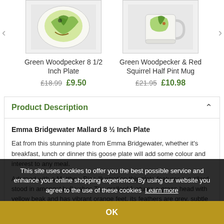[Figure (photo): Green Woodpecker 8 1/2 Inch Plate product image]
Green Woodpecker 8 1/2 Inch Plate
£18.99  £9.50
[Figure (photo): Green Woodpecker & Red Squirrel Half Pint Mug product image]
Green Woodpecker & Red Squirrel Half Pint Mug
£21.95  £10.98
Product Description
Emma Bridgewater Mallard 8 ½ Inch Plate
Eat from this stunning plate from Emma Bridgewater, whether it's breakfast, lunch or dinner this goose plate will add some colour and interest to any meal.
Adorned with a Matthew Rice illustration this plate features a mallard stood in amongst bullrushes The mallard features a green head with yellow beak and has vibrant orange feet, its feathers are grey, subtle of mouve with a light. This detailed illustration is set against a cream background and
This site uses cookies to offer you the best possible service and enhance your online shopping experience. By using our website you agree to the use of these cookies  Learn more
OK